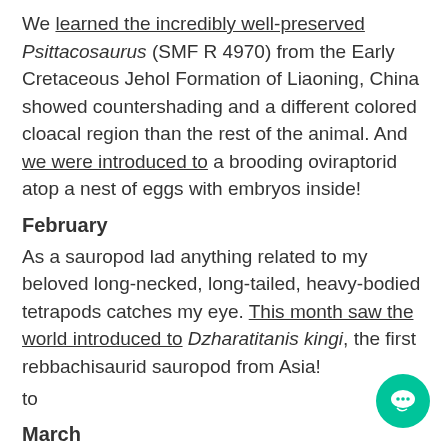We learned the incredibly well-preserved Psittacosaurus (SMF R 4970) from the Early Cretaceous Jehol Formation of Liaoning, China showed countershading and a different colored cloacal region than the rest of the animal. And we were introduced to a brooding oviraptorid atop a nest of eggs with embryos inside!
February
As a sauropod lad anything related to my beloved long-necked, long-tailed, heavy-bodied tetrapods catches my eye. This month saw the world introduced to Dzharatitanis kingi, the first rebbachisaurid sauropod from Asia!
to
March
Many of you first learned of Hungarosaurus, the European ankylosaurid, when a paper about numerous skulls and their cranial ornamentation appeared.
Plus we learned even more about ankylosaurid armor from